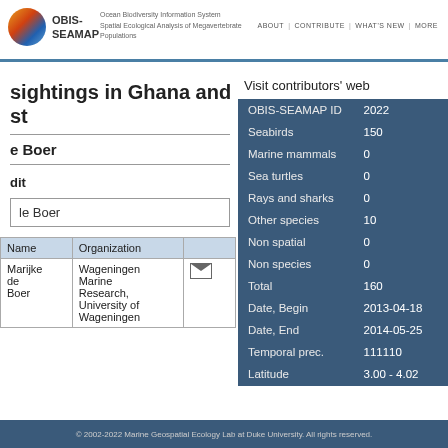OBIS-SEAMAP | Ocean Biodiversity Information System Spatial Ecological Analysis of Megavertebrate Populations | ABOUT | CONTRIBUTE | WHAT'S NEW | MORE
sightings in Ghana and st
e Boer
dit
le Boer
| Name | Organization |  |
| --- | --- | --- |
| Marijke de Boer | Wageningen Marine Research, University of Wageningen | [email] |
Visit contributors' web
| OBIS-SEAMAP ID | 2022 |
| Seabirds | 150 |
| Marine mammals | 0 |
| Sea turtles | 0 |
| Rays and sharks | 0 |
| Other species | 10 |
| Non spatial | 0 |
| Non species | 0 |
| Total | 160 |
| Date, Begin | 2013-04-18 |
| Date, End | 2014-05-25 |
| Temporal prec. | 111110 |
| Latitude | 3.00 - 4.02 |
© 2002-2022 Marine Geospatial Ecology Lab at Duke University. All rights reserved.